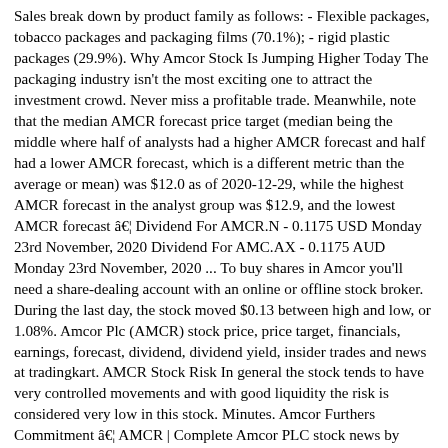Sales break down by product family as follows: - Flexible packages, tobacco packages and packaging films (70.1%); - rigid plastic packages (29.9%). Why Amcor Stock Is Jumping Higher Today The packaging industry isn't the most exciting one to attract the investment crowd. Never miss a profitable trade. Meanwhile, note that the median AMCR forecast price target (median being the middle where half of analysts had a higher AMCR forecast and half had a lower AMCR forecast, which is a different metric than the average or mean) was $12.0 as of 2020-12-29, while the highest AMCR forecast in the analyst group was $12.9, and the lowest AMCR forecast â€¦ Dividend For AMCR.N - 0.1175 USD Monday 23rd November, 2020 Dividend For AMC.AX - 0.1175 AUD Monday 23rd November, 2020 ... To buy shares in Amcor you'll need a share-dealing account with an online or offline stock broker. During the last day, the stock moved $0.13 between high and low, or 1.08%. Amcor Plc (AMCR) stock price, price target, financials, earnings, forecast, dividend, dividend yield, insider trades and news at tradingkart. AMCR Stock Risk In general the stock tends to have very controlled movements and with good liquidity the risk is considered very low in this stock. Minutes. Amcor Furthers Commitment â€¦ AMCR | Complete Amcor PLC stock news by MarketWatch. Information is â€¦ The Companyâ€™s segments include Flexibles and Rigid Plastics. 100% FREE. Amcor plc is a packaging company. Find the latest Earnings Report Date for Amcor plc Ordinary Shares (AMCR) at Nasdaq.com. We will share up to 75% of its ad revenues